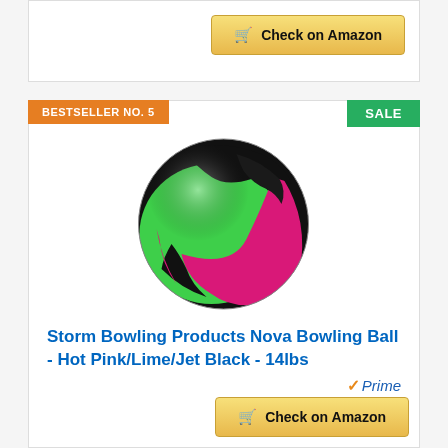[Figure (other): Check on Amazon button at top of page]
BESTSELLER NO. 5
SALE
[Figure (photo): Storm Bowling Ball - Hot Pink/Lime/Jet Black bowling ball with dragon/star design]
Storm Bowling Products Nova Bowling Ball - Hot Pink/Lime/Jet Black - 14lbs
[Figure (logo): Amazon Prime logo with checkmark]
[Figure (other): Check on Amazon button at bottom of page]